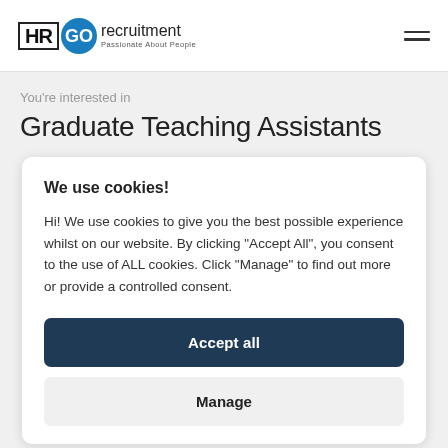[Figure (logo): HRGO Recruitment logo — HR in a box, GO in a blue circle, 'recruitment' text, tagline 'Passionate About People']
You're interested in
Graduate Teaching Assistants
We use cookies!
Hi! We use cookies to give you the best possible experience whilst on our website. By clicking "Accept All", you consent to the use of ALL cookies. Click "Manage" to find out more or provide a controlled consent.
Accept all
Manage